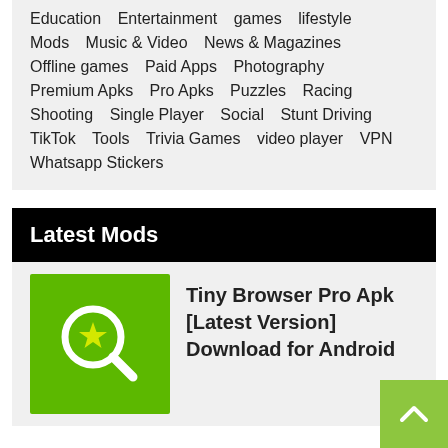Education
Entertainment
games
lifestyle
Mods
Music & Video
News & Magazines
Offline games
Paid Apps
Photography
Premium Apks
Pro Apks
Puzzles
Racing
Shooting
Single Player
Social
Stunt Driving
TikTok
Tools
Trivia Games
video player
VPN
Whatsapp Stickers
Latest Mods
[Figure (illustration): Green app icon with a magnifying glass and yellow star]
Tiny Browser Pro Apk [Latest Version] Download for Android